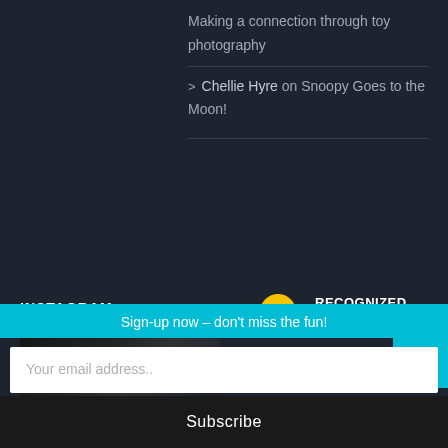Making a connection through toy photography
> Chellie Hyre on Snoopy Goes to the Moon!
INSTAGRAM
[Figure (logo): LEGO Recognized Online Community badge with yellow minifig head logo]
[Figure (photo): Dark Instagram photo thumbnail]
Sign-up now - don't miss the fun!
Your email address..
Subscribe